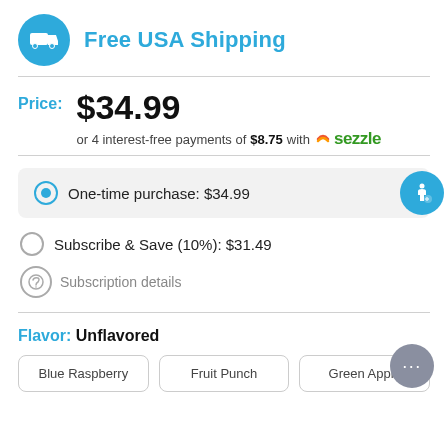Free USA Shipping
Price: $34.99
or 4 interest-free payments of $8.75 with Sezzle
One-time purchase: $34.99
Subscribe & Save (10%): $31.49
Subscription details
Flavor: Unflavored
Blue Raspberry
Fruit Punch
Green Apple